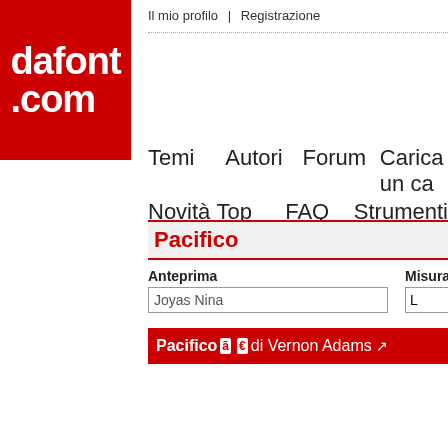[Figure (logo): dafont.com logo — white bold text on red background]
Il mio profilo  |  Registrazione
Temi   Autori   Forum   Carica un ca…
Novità   Top   FAQ   Strumenti
Pacifico
Anteprima
Misura
Joyas Nina
Pacifico ã € di Vernon Adams ↗